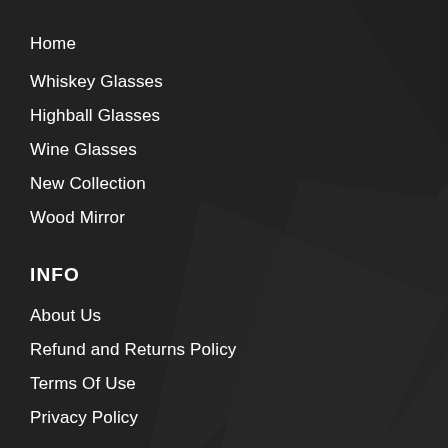Home
Whiskey Glasses
Highball Glasses
Wine Glasses
New Collection
Wood Mirror
INFO
About Us
Refund and Returns Policy
Terms Of Use
Privacy Policy